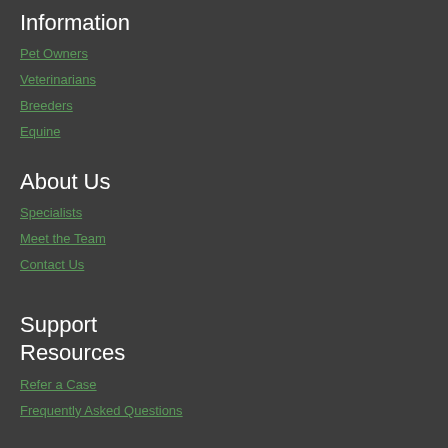Information
Pet Owners
Veterinarians
Breeders
Equine
About Us
Specialists
Meet the Team
Contact Us
Support Resources
Refer a Case
Frequently Asked Questions